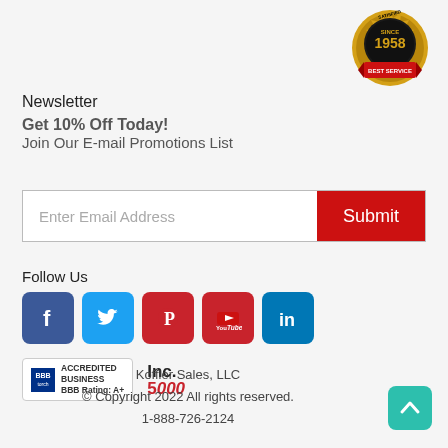[Figure (logo): Gold seal badge with text SINCE 1958 BEST SERVICE and satisfied customer ring]
Newsletter
Get 10% Off Today!
Join Our E-mail Promotions List
[Figure (other): Email input field with Enter Email Address placeholder and red Submit button]
Follow Us
[Figure (other): Social media icons: Facebook, Twitter, Pinterest, YouTube, LinkedIn]
[Figure (other): BBB Accredited Business BBB Rating: A+ badge and Inc. 5000 badge]
Koffler Sales, LLC
© Copyright 2022 All rights reserved.
1-888-726-2124